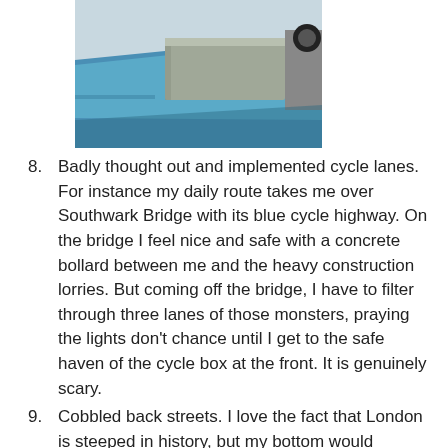[Figure (photo): Photo of a blue cycle lane on Southwark Bridge, with a concrete bollard visible and a vehicle in the background]
8. Badly thought out and implemented cycle lanes. For instance my daily route takes me over Southwark Bridge with its blue cycle highway. On the bridge I feel nice and safe with a concrete bollard between me and the heavy construction lorries. But coming off the bridge, I have to filter through three lanes of those monsters, praying the lights don't chance until I get to the safe haven of the cycle box at the front. It is genuinely scary.
9. Cobbled back streets. I love the fact that London is steeped in history, but my bottom would appreciate some smoother tarmac please.
That was a bit depressing, so let's end with some